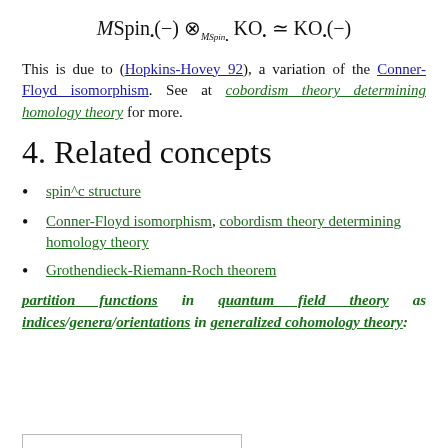This is due to (Hopkins-Hovey_92), a variation of the Conner-Floyd isomorphism. See at cobordism theory determining homology theory for more.
4. Related concepts
spin^c structure
Conner-Floyd isomorphism, cobordism theory determining homology theory
Grothendieck-Riemann-Roch theorem
partition functions in quantum field theory as indices/genera/orientations in generalized cohomology theory: